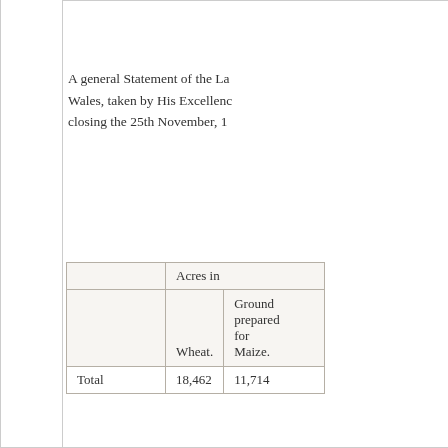A general Statement of the La Wales, taken by His Excellenc closing the 25th November, 1
|  | Acres in |  |
| --- | --- | --- |
|  | Wheat. | Ground prepared for Maize. |
| Total | 18,462 | 11,714 |
N. B. Total Number of Inhabita